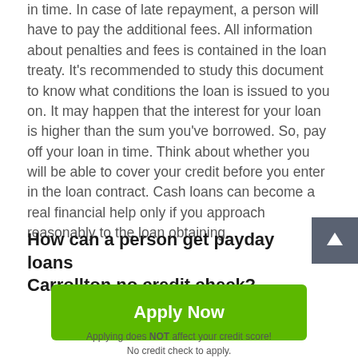in time. In case of late repayment, a person will have to pay the additional fees. All information about penalties and fees is contained in the loan treaty. It's recommended to study this document to know what conditions the loan is issued to you on. It may happen that the interest for your loan is higher than the sum you've borrowed. So, pay off your loan in time. Think about whether you will be able to cover your credit before you enter in the loan contract. Cash loans can become a real financial help only if you approach reasonably to the loan obtaining.
How can a person get payday loans Carrollton no credit check?
[Figure (other): Scroll-to-top button with upward arrow icon, dark gray background]
Apply Now
Applying does NOT affect your credit score! No credit check to apply.